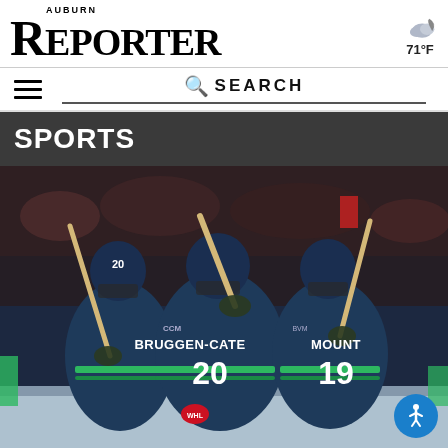Auburn Reporter
71°F
SPORTS
[Figure (photo): Hockey players in navy blue and green jerseys celebrating on ice. Player #20 BRUGGEN-CATE and player #19 MOUNT are visible, embracing after a goal.]